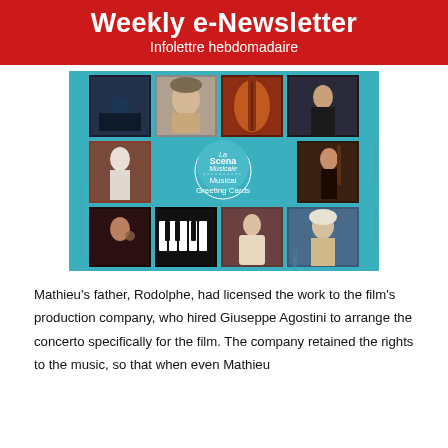Weekly e-Newsletter
Infolettre hebdomadaire
[Figure (illustration): La Scena Musicale Musical Greeting Cards product image showing a grid of musician portraits and musical images with a teal background and central circular logo]
Mathieu's father, Rodolphe, had licensed the work to the film's production company, who hired Giuseppe Agostini to arrange the concerto specifically for the film. The company retained the rights to the music, so that when even Mathieu